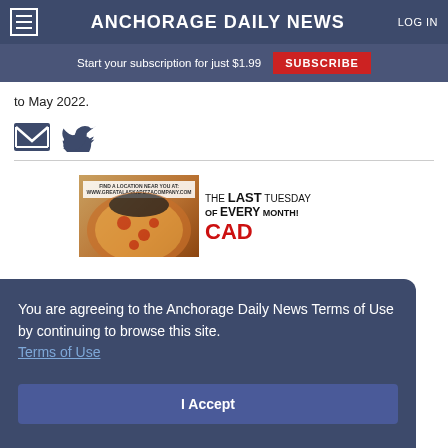Anchorage Daily News | LOG IN
Start your subscription for just $1.99  SUBSCRIBE
to May 2022.
[Figure (other): Email and Twitter share icons]
[Figure (other): Advertisement for Great Alaska Pizza Company: FIND A LOCATION NEAR YOU AT: WWW.GREATALASKAPIZZACOMPANY.COM - THE LAST TUESDAY OF EVERY MONTH! CAD]
You are agreeing to the Anchorage Daily News Terms of Use by continuing to browse this site. Terms of Use
I Accept